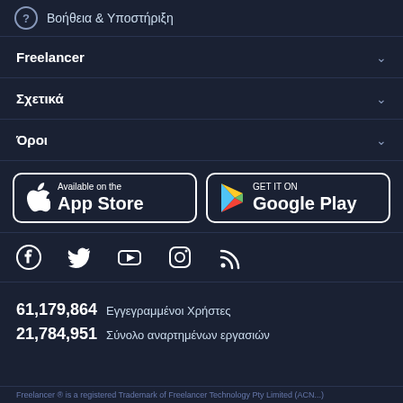Βοήθεια & Υποστήριξη
Freelancer
Σχετικά
Όροι
[Figure (logo): Available on the App Store button]
[Figure (logo): GET IT ON Google Play button]
[Figure (logo): Social media icons: Facebook, Twitter, YouTube, Instagram, RSS]
61,179,864  Εγγεγραμμένοι Χρήστες
21,784,951  Σύνολο αναρτημένων εργασιών
Freelancer ® is a registered Trademark of Freelancer Technology Pty Limited (ACN...